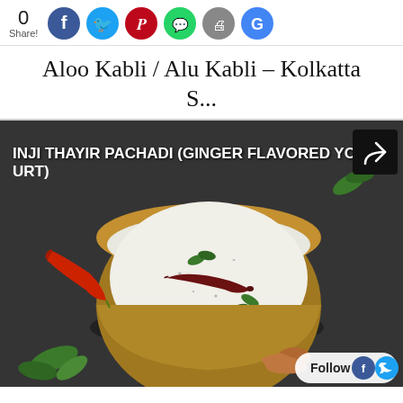0 Share! [social icons: Facebook, Twitter, Pinterest, WhatsApp, Print, Google]
Aloo Kabli / Alu Kabli – Kolkatta S...
[Figure (photo): Food photo of Inji Thayir Pachadi (Ginger Flavored Yogurt) — a white creamy yogurt dish in a brass bowl with a dried red chilli on top and green curry leaves, set on a dark stone surface with a fresh red chilli and ginger pieces around it. White bold text on the image reads: INJI THAYIR PACHADI (GINGER FLAVORED YOGURT). A share icon appears top right. A Follow bar with Facebook and Twitter icons appears bottom right.]